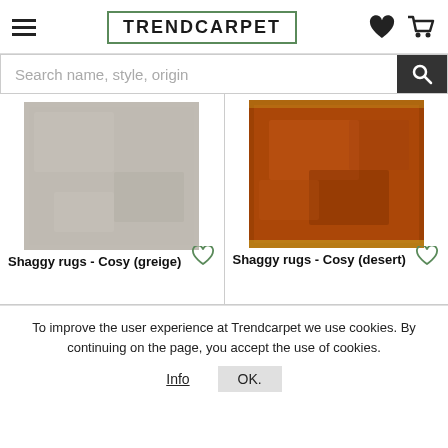TRENDCARPET
Search name, style, origin
[Figure (photo): Greige shaggy rug product photo — light grey/beige textured fabric]
Shaggy rugs - Cosy (greige)
[Figure (photo): Desert shaggy rug product photo — orange/brown textured fabric]
Shaggy rugs - Cosy (desert)
To improve the user experience at Trendcarpet we use cookies. By continuing on the page, you accept the use of cookies.
Info   OK.